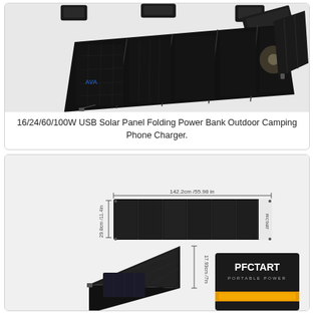[Figure (photo): Product photo of a foldable solar panel shown in multiple configurations — unfolded flat and propped up at an angle, with small mounting brackets visible at top]
16/24/60/100W USB Solar Panel Folding Power Bank Outdoor Camping Phone Charger.
[Figure (photo): Product dimensions diagram showing a large folding solar panel laid flat with width measurement 142.2cm/55.98in, height 29.8cm/11.4in, and below it two views: the panel folded like a tent and a compact carry case with PFCTART PORTABLE POWER branding, with dimension 29.95cm/11.4in shown.]